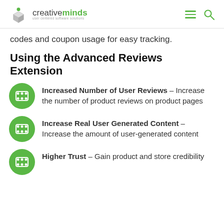creativeminds - user centered software solutions
codes and coupon usage for easy tracking.
Using the Advanced Reviews Extension
Increased Number of User Reviews – Increase the number of product reviews on product pages
Increase Real User Generated Content – Increase the amount of user-generated content
Higher Trust – Gain product and store credibility